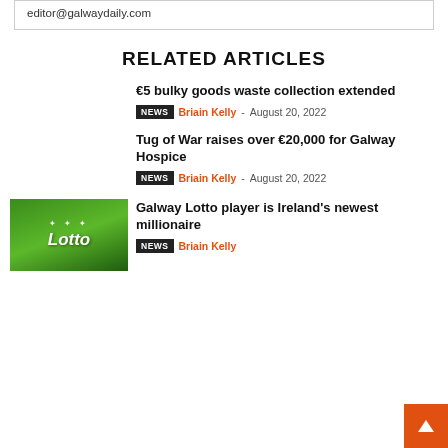editor@galwaydaily.com
RELATED ARTICLES
€5 bulky goods waste collection extended
NEWS  Briain Kelly - August 20, 2022
Tug of War raises over €20,000 for Galway Hospice
NEWS  Briain Kelly - August 20, 2022
[Figure (photo): Lotto logo on green background]
Galway Lotto player is Ireland's newest millionaire
Briain Kelly - August 20, 2022